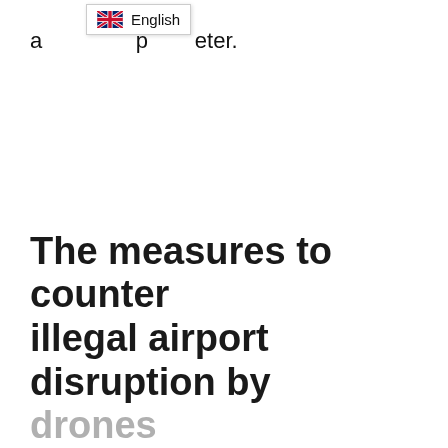a…eter.
The measures to counter illegal airport disruption by drones